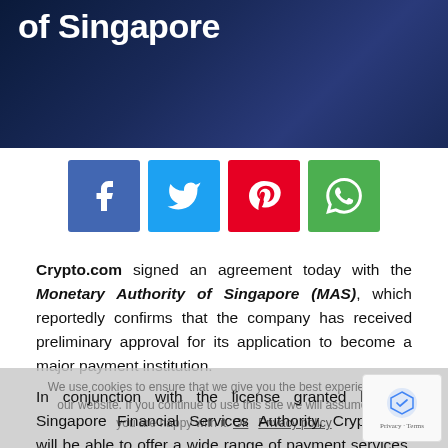of Singapore
[Figure (infographic): Four social media share buttons: Facebook (blue), Twitter (cyan), Pinterest (red), WhatsApp (green)]
Crypto.com signed an agreement today with the Monetary Authority of Singapore (MAS), which reportedly confirms that the company has received preliminary approval for its application to become a major payment institution.
In conjunction with the license granted by the Singapore Financial Services Authority, Crypto.com will be able to offer a wide range of payment services, including digital payment tokens (DPT), to its customers based in Singapore.